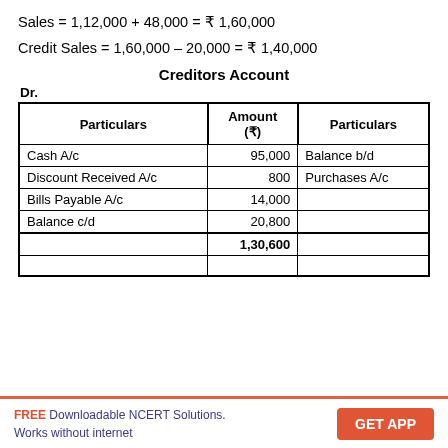Creditors Account
| Particulars | Amount (₹) | Particulars |
| --- | --- | --- |
| Cash A/c | 95,000 | Balance b/d |
| Discount Received A/c | 800 | Purchases A/c |
| Bills Payable A/c | 14,000 |  |
| Balance c/d | 20,800 |  |
|  | 1,30,600 |  |
|  |  |  |
FREE Downloadable NCERT Solutions. Works without internet  GET APP